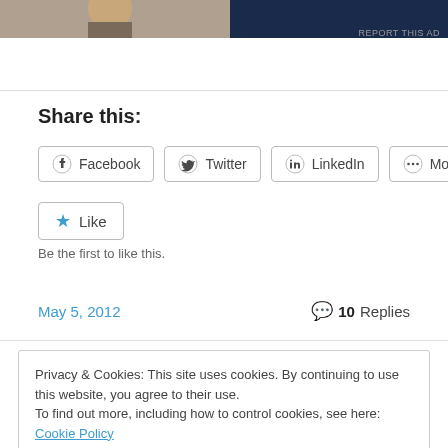[Figure (photo): Partial advertisement image at the top of the page showing two people]
REPORT THIS AD
Share this:
Facebook  Twitter  LinkedIn  More
Like
Be the first to like this.
May 5, 2012
10 Replies
Privacy & Cookies: This site uses cookies. By continuing to use this website, you agree to their use.
To find out more, including how to control cookies, see here: Cookie Policy
Close and accept
police brutality and systemic racism. Here it is below